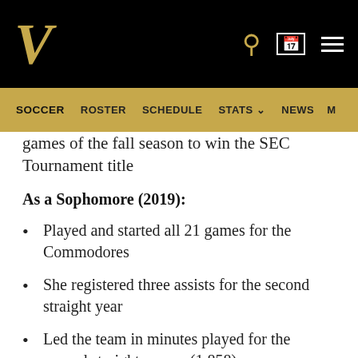Vanderbilt Soccer – Navigation bar with Soccer, Roster, Schedule, Stats, News, M
games of the fall season to win the SEC Tournament title
As a Sophomore (2019):
Played and started all 21 games for the Commodores
She registered three assists for the second straight year
Led the team in minutes played for the second straight season (1,858)